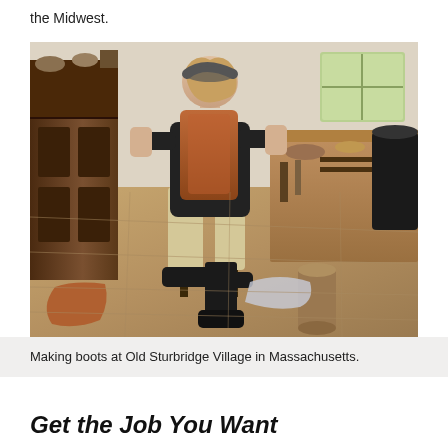the Midwest.
[Figure (photo): A craftsperson making boots at a workbench in a historic workshop setting at Old Sturbridge Village in Massachusetts. The person wears a dark hat and apron, holds a piece of brown leather, and is surrounded by tools, boots, and a wooden cabinet.]
Making boots at Old Sturbridge Village in Massachusetts.
Get the Job You Want